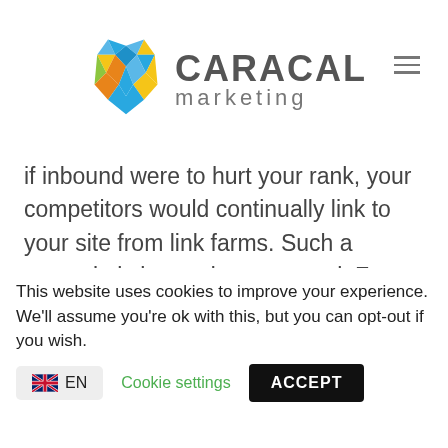[Figure (logo): Caracal Marketing logo with geometric lynx head icon in blue, yellow, orange and green polygons, alongside text 'CARACAL marketing' in dark gray]
if inbound were to hurt your rank, your competitors would continually link to your site from link farms. Such a scenario is beyond your control. For this reason, Google cannot penalize your site for any [...]
This website uses cookies to improve your experience. We'll assume you're ok with this, but you can opt-out if you wish.
Cookie settings
ACCEPT